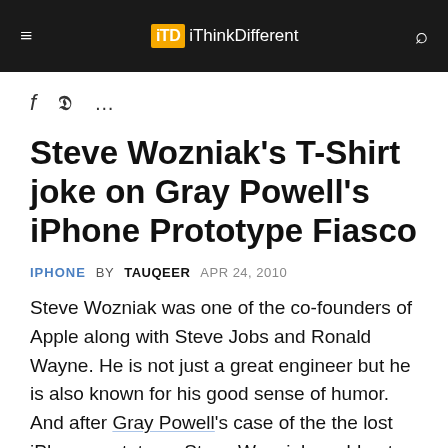iThinkDifferent
f  ✓  ...
Steve Wozniak's T-Shirt joke on Gray Powell's iPhone Prototype Fiasco
IPHONE   BY TAUQEER   APR 24, 2010
Steve Wozniak was one of the co-founders of Apple along with Steve Jobs and Ronald Wayne. He is not just a great engineer but he is also known for his good sense of humor. And after Gray Powell's case of the the lost iPhone prototype, Steve Wozniak could not stop himself from making a joke of this scene.